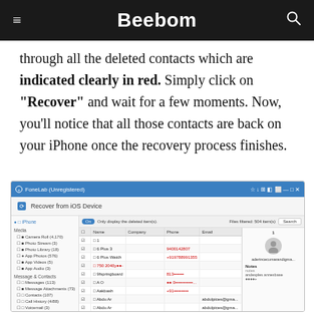Beebom
through all the deleted contacts which are indicated clearly in red. Simply click on "Recover" and wait for a few moments. Now, you'll notice that all those contacts are back on your iPhone once the recovery process finishes.
[Figure (screenshot): Screenshot of FoneLab (Unregistered) software showing 'Recover from iOS Device' interface with a list of deleted contacts displayed, some names highlighted in red. Left sidebar shows media and message categories, center shows contact table with Name, Company, Phone, Email columns, right panel shows contact detail with avatar and Notes section.]